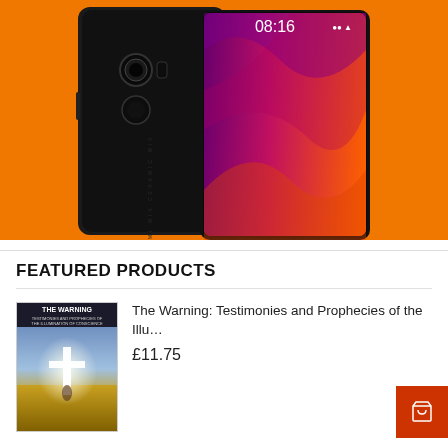[Figure (photo): Xiaomi Mi Mix smartphone shown from front and back against orange background. Black phone with edge-to-edge display showing 08:16 time and colorful wallpaper.]
FEATURED PRODUCTS
[Figure (photo): Book cover: The Warning Testimonies and Prophecies of the Illumination of Conscience, with cross on cover]
The Warning: Testimonies and Prophecies of the Illu…
£11.75